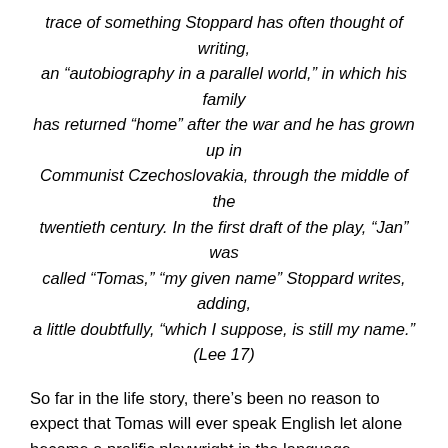trace of something Stoppard has often thought of writing, an “autobiography in a parallel world,” in which his family has returned “home” after the war and he has grown up in Communist Czechoslovakia, through the middle of the twentieth century. In the first draft of the play, “Jan” was called “Tomas,” “my given name” Stoppard writes, adding, a little doubtfully, “which I suppose, is still my name.” (Lee 17)
So far in the life story, there’s been no reason to expect that Tomas will ever speak English let alone become a prolific playwright in the language. Singapore however is trouble, given the relentless advance of Japanese forces in the Pacific. This time although the boys and Marta escape, they never see their father again. The ending of Dr Eugen Sträussler is a sad series of speculations rather